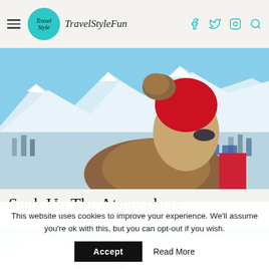TravelStyleFun — navigation header with hamburger menu, logo, and social icons (Facebook, Twitter, Instagram, Search)
[Figure (photo): Woman in red knit hat with fur pompom and fur collar coat, looking up at a sunny winter alpine scene with snow-capped mountains and people in background]
Soak Up The Atmosphere
[Figure (photo): Snow-capped mountains under blue sky at a winter resort]
This website uses cookies to improve your experience. We'll assume you're ok with this, but you can opt-out if you wish.
Accept  Read More